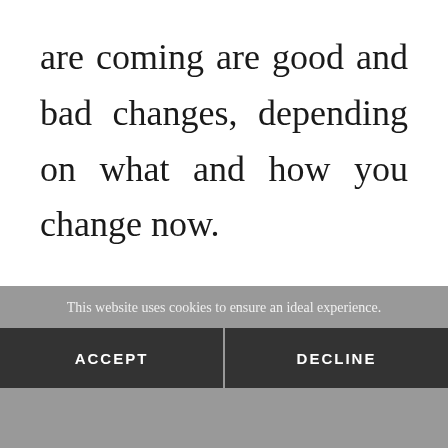are coming are good and bad changes, depending on what and how you change now.

And so we went to Mexico City, and the purpose was to give Mexico's future to Our Lady and to introduce
This website uses cookies to ensure an ideal experience.
ACCEPT
DECLINE